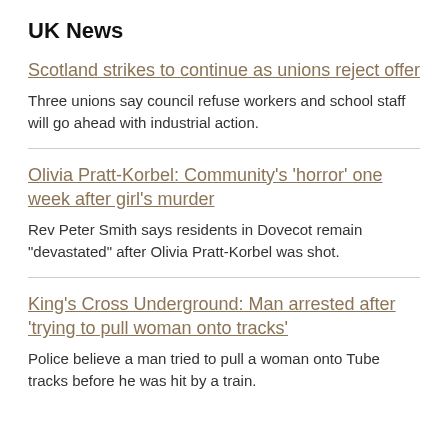UK News
Scotland strikes to continue as unions reject offer
Three unions say council refuse workers and school staff will go ahead with industrial action.
Olivia Pratt-Korbel: Community's 'horror' one week after girl's murder
Rev Peter Smith says residents in Dovecot remain "devastated" after Olivia Pratt-Korbel was shot.
King's Cross Underground: Man arrested after 'trying to pull woman onto tracks'
Police believe a man tried to pull a woman onto Tube tracks before he was hit by a train.